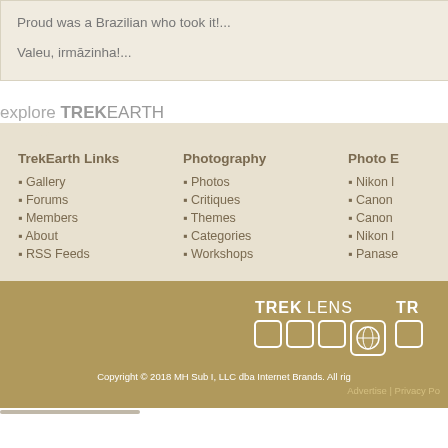Proud was a Brazilian who took it!...
Valeu, irmāzinha!...
explore TREKEARTH
TrekEarth Links: Gallery, Forums, Members, About, RSS Feeds
Photography: Photos, Critiques, Themes, Categories, Workshops
Photo E: Nikon, Canon, Canon, Nikon, Panase
[Figure (logo): TREKLENS logo with camera icons]
[Figure (logo): TR logo (partially visible)]
Copyright © 2018 MH Sub I, LLC dba Internet Brands. All rights reserved. Advertise | Privacy Po
Advertise | Privacy Po...